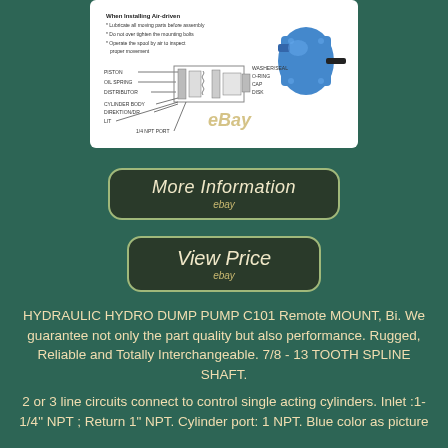[Figure (engineering-diagram): Cross-section schematic diagram of a hydraulic pump with labeled parts including cylinder body, pistons, springs, O-ring, cap, disk, and installation instructions. A blue hydraulic pump unit shown to the right. eBay watermark visible.]
[Figure (other): More Information button with eBay branding on dark green rounded rectangle background]
[Figure (other): View Price button with eBay branding on dark green rounded rectangle background]
HYDRAULIC HYDRO DUMP PUMP C101 Remote MOUNT, Bi. We guarantee not only the part quality but also performance. Rugged, Reliable and Totally Interchangeable. 7/8 - 13 TOOTH SPLINE SHAFT.
2 or 3 line circuits connect to control single acting cylinders. Inlet :1-1/4" NPT ; Return 1" NPT. Cylinder port: 1 NPT. Blue color as picture